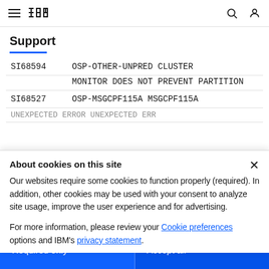IBM Support
Support
| Code | Description |
| --- | --- |
| SI68594 | OSP-OTHER-UNPRED CLUSTER MONITOR DOES NOT PREVENT PARTITION |
| SI68527 | OSP-MSGCPF115A MSGCPF115A |
About cookies on this site
Our websites require some cookies to function properly (required). In addition, other cookies may be used with your consent to analyze site usage, improve the user experience and for advertising.

For more information, please review your Cookie preferences options and IBM's privacy statement.
Required only
Accept all